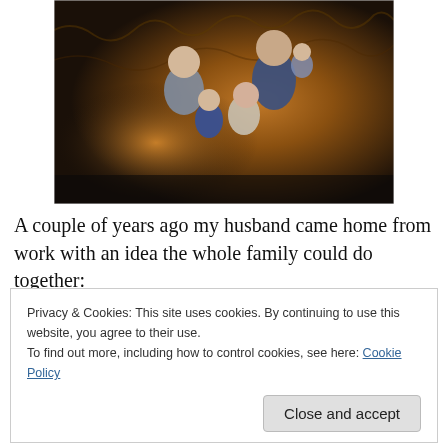[Figure (photo): A family of four people posed inside a cave or cavern. There are two adults and two children. The background shows illuminated cave walls with warm orange/yellow lights.]
A couple of years ago my husband came home from work with an idea the whole family could do together:
Privacy & Cookies: This site uses cookies. By continuing to use this website, you agree to their use.
To find out more, including how to control cookies, see here: Cookie Policy

Close and accept